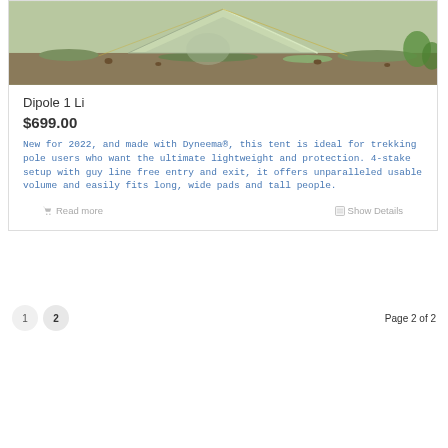[Figure (photo): Photograph of a lightweight tent (Dipole 1 Li) pitched outdoors on grassy ground with pine cones and green plants visible around it. The tent appears light green/sage colored against natural ground.]
Dipole 1 Li
$699.00
New for 2022, and made with Dyneema®, this tent is ideal for trekking pole users who want the ultimate lightweight and protection. 4-stake setup with guy line free entry and exit, it offers unparalleled usable volume and easily fits long, wide pads and tall people.
Read more
Show Details
Page 2 of 2